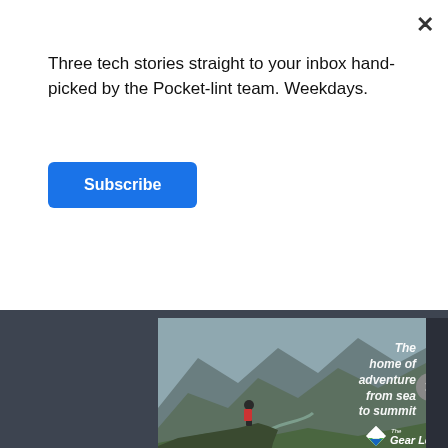Three tech stories straight to your inbox hand-picked by the Pocket-lint team. Weekdays.
Subscribe
[Figure (photo): Advertisement image for The Gear Loop showing a hiker with a red backpack standing on a rocky mountain ridge overlooking a green valley with a winding river. Text overlay reads 'The home of adventure from sea to summit' with The Gear Loop logo.]